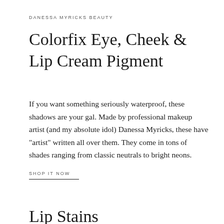DANESSA MYRICKS BEAUTY
Colorfix Eye, Cheek & Lip Cream Pigment
If you want something seriously waterproof, these shadows are your gal. Made by professional makeup artist (and my absolute idol) Danessa Myricks, these have "artist" written all over them. They come in tons of shades ranging from classic neutrals to bright neons.
SHOP IT NOW
Lip Stains